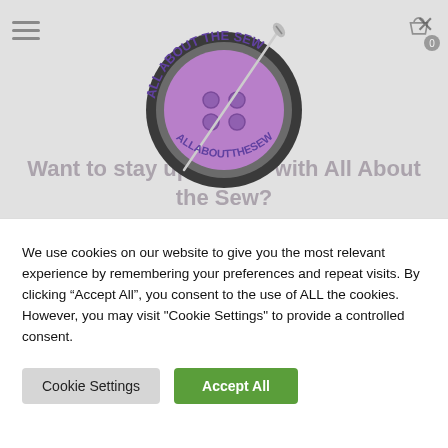[Figure (logo): All About the Sew circular logo with a purple button and needle/thread design, text reading ALL ABOUT THE SEW around the circle]
Want to stay up to date with All About the Sew?
Sign up below to receive a weekly newsletter and latest news sent direct to your inbox.
We use cookies on our website to give you the most relevant experience by remembering your preferences and repeat visits. By clicking “Accept All”, you consent to the use of ALL the cookies. However, you may visit "Cookie Settings" to provide a controlled consent.
Cookie Settings
Accept All